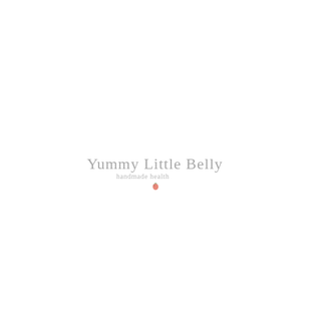[Figure (logo): Yummy Little Belly logo with cursive script text 'Yummy Little Belly' in gray, subtitle text below in lighter gray cursive, and a small pink/red berry icon beneath]